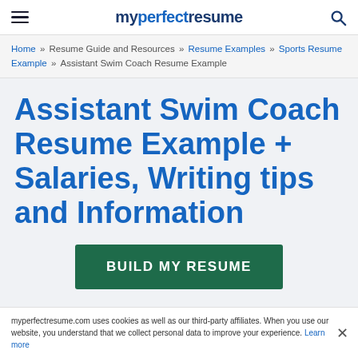myperfectresume
Home » Resume Guide and Resources » Resume Examples » Sports Resume Example » Assistant Swim Coach Resume Example
Assistant Swim Coach Resume Example + Salaries, Writing tips and Information
BUILD MY RESUME
myperfectresume.com uses cookies as well as our third-party affiliates. When you use our website, you understand that we collect personal data to improve your experience. Learn more